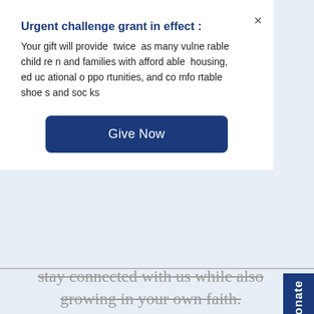Urgent challenge grant in effect :
Your gift will provide twice as many vulnerable children and families with affordable housing, educational opportunities, and comfortable shoes and socks
Give Now
stay connected with us while also growing in your own faith.
Click below to get the latest news, updates and invitations to exclusive events from Buckner. And, we'll send you spiritual encouragement through our weekly Faith Focus devotion. You won't find these stories and resources anywhere else!
Donate